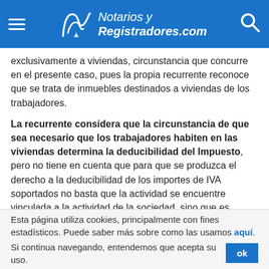Notarios y Registradores.com
exclusivamente a viviendas, circunstancia que concurre en el presente caso, pues la propia recurrente reconoce que se trata de inmuebles destinados a viviendas de los trabajadores.
La recurrente considera que la circunstancia de que sea necesario que los trabajadores habiten en las viviendas determina la deducibilidad del Impuesto, pero no tiene en cuenta que para que se produzca el derecho a la deducibilidad de los importes de IVA soportados no basta que la actividad se encuentre vinculada a la actividad de la sociedad, sino que es necesario que no se encuentre en
Esta página utiliza cookies, principalmente con fines estadísticos. Puede saber más sobre como las usamos aquí. Si continua navegando, entendemos que acepta su uso.